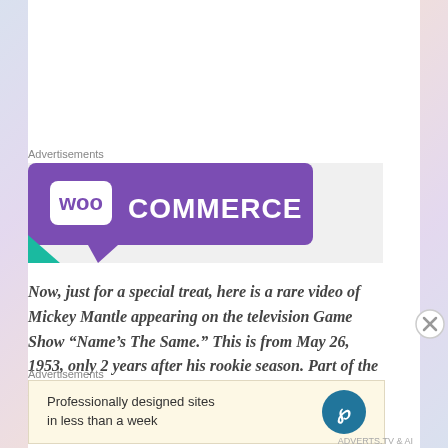Advertisements
[Figure (logo): WooCommerce advertisement banner with purple speech-bubble logo on light grey background and teal accent triangle in lower left]
Now, just for a special treat, here is a rare video of Mickey Mantle appearing on the television Game Show “Name’s The Same.” This is from May 26, 1953, only 2 years after his rookie season. Part of the show weekly show would feature a
Advertisements
[Figure (other): WordPress advertisement: Professionally designed sites in less than a week, with WordPress logo on right, light beige/cream background]